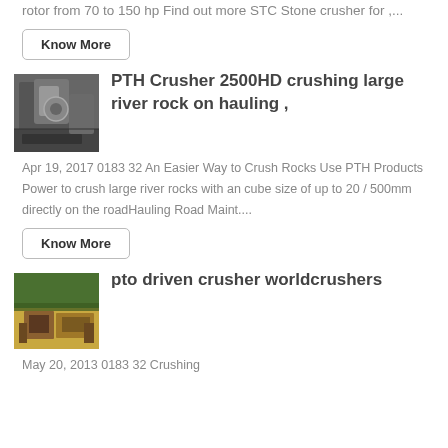rotor from 70 to 150 hp Find out more STC Stone crusher for ,...
Know More
[Figure (photo): Industrial crusher machine photo]
PTH Crusher 2500HD crushing large river rock on hauling ,
Apr 19, 2017 0183 32 An Easier Way to Crush Rocks Use PTH Products Power to crush large river rocks with an cube size of up to 20 / 500mm directly on the roadHauling Road Maint....
Know More
[Figure (photo): Construction site with crusher equipment]
pto driven crusher worldcrushers
May 20, 2013 0183 32 Crushing